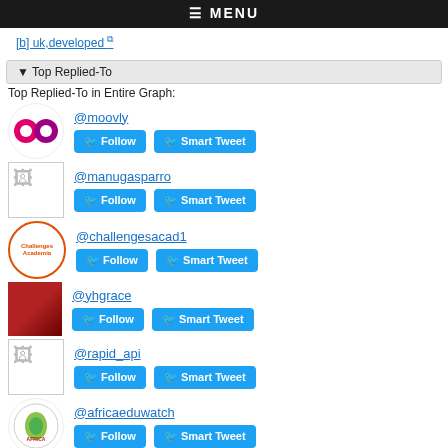≡ MENU
[b] uk,developed ↗
▼ Top Replied-To
Top Replied-To in Entire Graph:
@moovly
@manugasparro
@challengesacad1
@yhgrace
@rapid_api
@africaeduwatch
@tesseractlearn